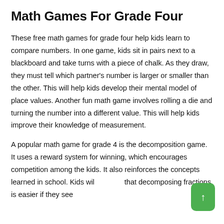Math Games For Grade Four
These free math games for grade four help kids learn to compare numbers. In one game, kids sit in pairs next to a blackboard and take turns with a piece of chalk. As they draw, they must tell which partner's number is larger or smaller than the other. This will help kids develop their mental model of place values. Another fun math game involves rolling a die and turning the number into a different value. This will help kids improve their knowledge of measurement.
A popular math game for grade 4 is the decomposition game. It uses a reward system for winning, which encourages competition among the kids. It also reinforces the concepts learned in school. Kids will that decomposing fractions is easier if they see